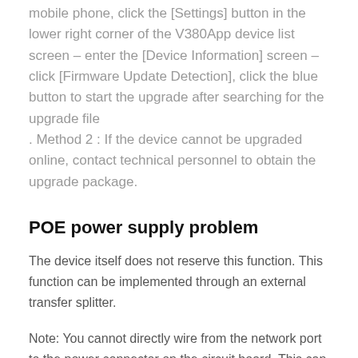mobile phone, click the [Settings] button in the lower right corner of the V380App device list screen – enter the [Device Information] screen – click [Firmware Update Detection], click the blue button to start the upgrade after searching for the upgrade file . Method 2 : If the device cannot be upgraded online, contact technical personnel to obtain the upgrade package.
POE power supply problem
The device itself does not reserve this function. This function can be implemented through an external transfer splitter.
Note: You cannot directly wire from the network port to the power connector on the circuit board. This can